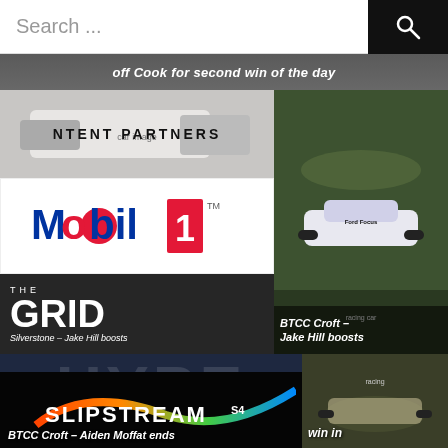Search ...
off Cook for second win of the day
NTENT PARTNERS
[Figure (photo): Mobil 1 logo on white background]
[Figure (photo): Racing car on track at BTCC Croft event]
THE GRID - Silverstone – Jake Hill boosts
BTCC Croft – Jake Hill boosts
[Figure (photo): HYPE branded image with racing car - BTCC Croft – Aiden Moffat ends]
BTCC Croft – Aiden Moffat ends
win in
[Figure (logo): SLIPSTREAM S4 logo on black background]